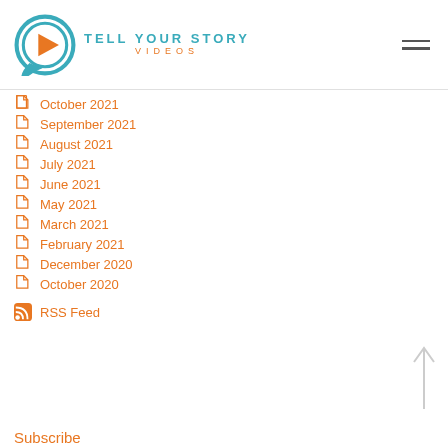[Figure (logo): Tell Your Story Videos logo with teal speech bubble containing orange play button, teal and orange wordmark]
October 2021
September 2021
August 2021
July 2021
June 2021
May 2021
March 2021
February 2021
December 2020
October 2020
RSS Feed
Subscribe